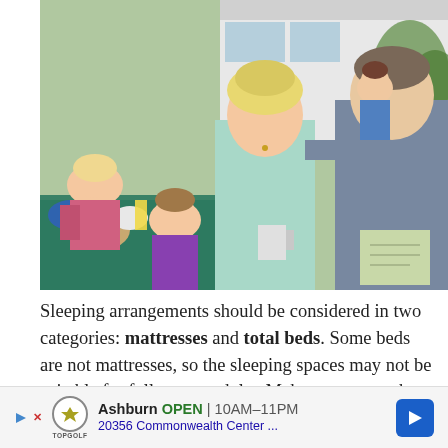[Figure (photo): A family scene outdoors near an RV. A smiling woman in a light blue sweater holds a travel mug, standing next to a man in a gray plaid shirt holding a map. Two young girls sit at a table in the background with food and drinks.]
Sleeping arrangements should be considered in two categories: mattresses and total beds. Some beds are not mattresses, so the sleeping spaces may not be suitable for full-grown adults. Make sure to get the details... f the
[Figure (other): Advertisement banner: Ashburn OPEN 10AM-11PM, 20356 Commonwealth Center..., Topgolf logo, navigation arrow icon]